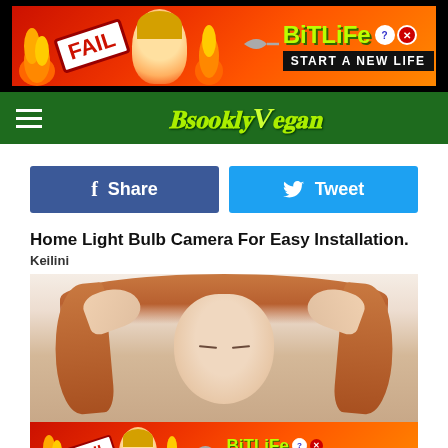[Figure (other): BitLife advertisement banner at top of page with FAIL badge, cartoon character, fire elements, and 'START A NEW LIFE' tagline]
Brooklyn Vegan
[Figure (other): Facebook Share button (blue) and Twitter Tweet button (light blue) side by side]
Home Light Bulb Camera For Easy Installation.
Keilini
[Figure (photo): Woman with red/auburn hair holding her head with both hands, eyes closed, appearing stressed or in pain]
[Figure (other): BitLife advertisement banner at bottom of visible area with FAIL badge and START A NEW LIFE tagline]